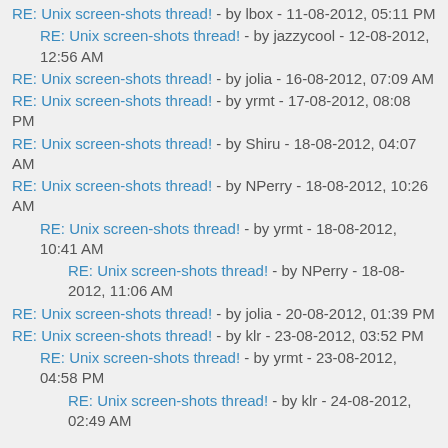RE: Unix screen-shots thread! - by lbox - 11-08-2012, 05:11 PM
RE: Unix screen-shots thread! - by jazzycool - 12-08-2012, 12:56 AM
RE: Unix screen-shots thread! - by jolia - 16-08-2012, 07:09 AM
RE: Unix screen-shots thread! - by yrmt - 17-08-2012, 08:08 PM
RE: Unix screen-shots thread! - by Shiru - 18-08-2012, 04:07 AM
RE: Unix screen-shots thread! - by NPerry - 18-08-2012, 10:26 AM
RE: Unix screen-shots thread! - by yrmt - 18-08-2012, 10:41 AM
RE: Unix screen-shots thread! - by NPerry - 18-08-2012, 11:06 AM
RE: Unix screen-shots thread! - by jolia - 20-08-2012, 01:39 PM
RE: Unix screen-shots thread! - by klr - 23-08-2012, 03:52 PM
RE: Unix screen-shots thread! - by yrmt - 23-08-2012, 04:58 PM
RE: Unix screen-shots thread! - by klr - 24-08-2012, 02:49 AM